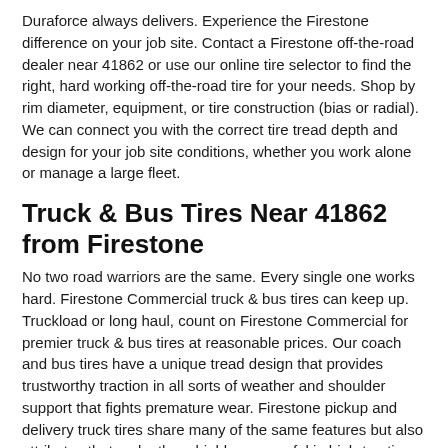Duraforce always delivers. Experience the Firestone difference on your job site. Contact a Firestone off-the-road dealer near 41862 or use our online tire selector to find the right, hard working off-the-road tire for your needs. Shop by rim diameter, equipment, or tire construction (bias or radial). We can connect you with the correct tire tread depth and design for your job site conditions, whether you work alone or manage a large fleet.
Truck & Bus Tires Near 41862 from Firestone
No two road warriors are the same. Every single one works hard. Firestone Commercial truck & bus tires can keep up. Truckload or long haul, count on Firestone Commercial for premier truck & bus tires at reasonable prices. Our coach and bus tires have a unique tread design that provides trustworthy traction in all sorts of weather and shoulder support that fights premature wear. Firestone pickup and delivery truck tires share many of the same features but also attributes that make them highly successful in high-traction, high-scrub applications. We could say the same for our inventory of less-than-truckload and truckload tires Strategic construction details, like steel belts, cross-rib sipes, and tie bars, help fight irregular wear and improve traction.